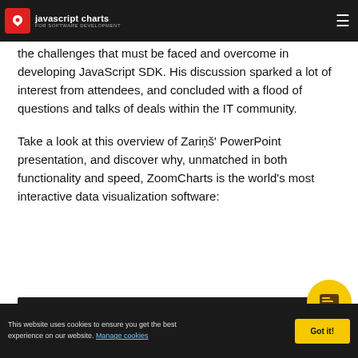javascript charts for software development
the challenges that must be faced and overcome in developing JavaScript SDK. His discussion sparked a lot of interest from attendees, and concluded with a flood of questions and talks of deals within the IT community.
Take a look at this overview of Zariņš' PowerPoint presentation, and discover why, unmatched in both functionality and speed, ZoomCharts is the world's most interactive data visualization software:
[Figure (screenshot): Dark video or embed area, partially visible at the bottom of the content]
This website uses cookies to ensure you get the best experience on our website. Manage cookies
Got it!